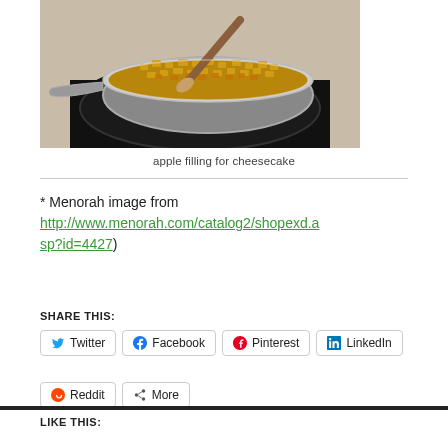[Figure (photo): Photo of apple filling cooking in a metal saucepan on a black stove, with a wooden spoon, showing golden/brown diced fruit mixture]
apple filling for cheesecake
* Menorah image from http://www.menorah.com/catalog2/shopexd.asp?id=4427)
SHARE THIS:
Twitter  Facebook  Pinterest  LinkedIn
Reddit  More
LIKE THIS: